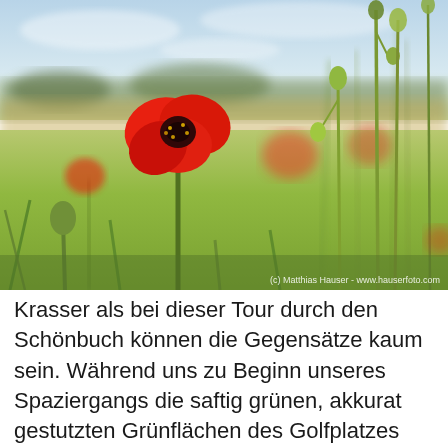[Figure (photo): Close-up photograph of red poppy flowers (Mohnblumen) in a green field. The foreground shows a vivid red poppy in full bloom with a dark center, surrounded by green stems, buds, and grass. Background shows blurred additional poppies and a soft bokeh of wheat field and sky. Bottom-right watermark reads: (c) Matthias Hauser - www.hauserfoto.com]
Krasser als bei dieser Tour durch den Schönbuch können die Gegensätze kaum sein. Während uns zu Beginn unseres Spaziergangs die saftig grünen, akkurat gestutzten Grünflächen des Golfplatzes Schönbuch anleuchten stehen wir schon wenige